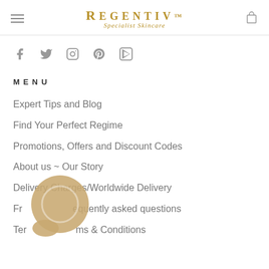Regentiv Specialist Skincare — navigation header with hamburger menu and cart icon
[Figure (illustration): Social media icons row: Facebook, Twitter, Instagram, Pinterest, YouTube]
MENU
Expert Tips and Blog
Find Your Perfect Regime
Promotions, Offers and Discount Codes
About us ~ Our Story
Delivery Charges/Worldwide Delivery
Frequently asked questions
Terms & Conditions